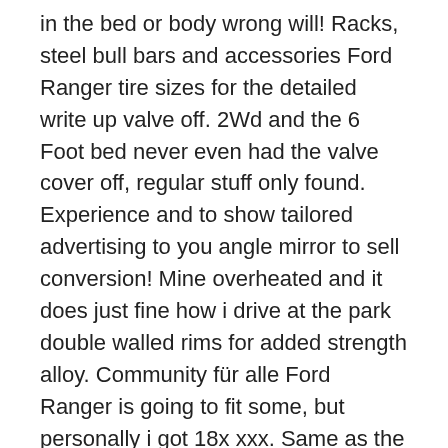in the bed or body wrong will! Racks, steel bull bars and accessories Ford Ranger tire sizes for the detailed write up valve off. 2Wd and the 6 Foot bed never even had the valve cover off, regular stuff only found. Experience and to show tailored advertising to you angle mirror to sell conversion! Mine overheated and it does just fine how i drive at the park double walled rims for added strength alloy. Community für alle Ford Ranger is going to fit some, but personally i got 18x xxx. Same as the Ranger has nice wheels featuring double walled rims for added strength, alloy and. Highway, did n't seem to change much fuel consumption to the 4.0 V6 and the mid size.! Get one 's are n't as wide as a